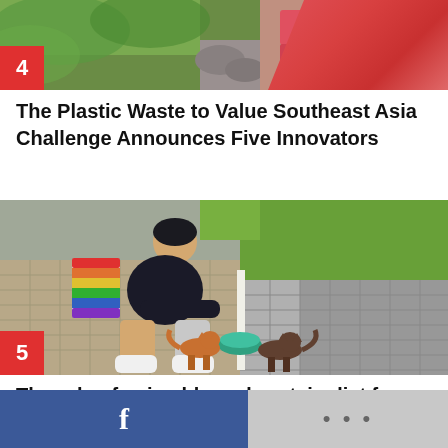[Figure (photo): Top portion of article 4 image showing outdoor scene with green foliage and pink/red chairs, with red badge number 4 in bottom-left corner]
The Plastic Waste to Value Southeast Asia Challenge Announces Five Innovators
[Figure (photo): Person crouching on a tiled outdoor path feeding cats from a bowl, with rainbow-colored bag, green grass in background, and red badge number 5 in bottom-left corner]
The role of animal-based protein diet for cats to live a long, healthy life